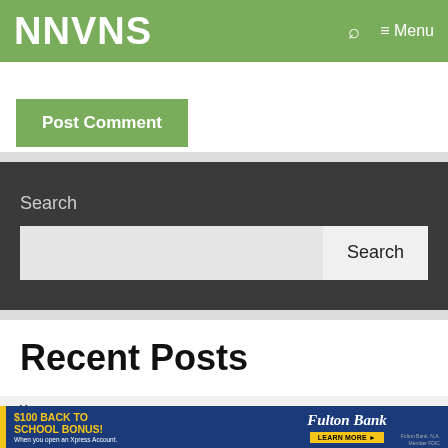NNVNS
Post Comment
Search
Search
Recent Posts
[Figure (infographic): $100 BACK TO SCHOOL BONUS! When you open an Xpress Account. Fulton Bank LEARN MORE]